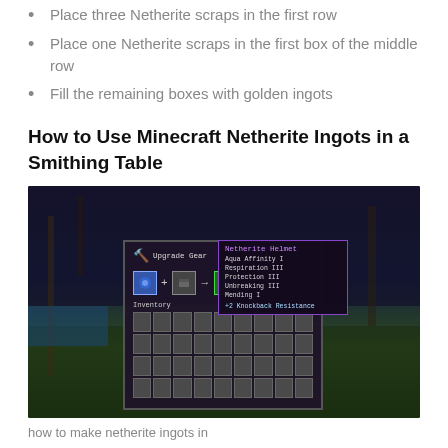Place three Netherite scraps in the first row
Place one Netherite scraps in the first box of the middle row
Fill the remaining boxes with golden ingots
How to Use Minecraft Netherite Ingots in a Smithing Table
[Figure (screenshot): Minecraft screenshot showing the Upgrade Gear smithing table UI with a diamond helmet and netherite ingot being combined, with a tooltip showing the resulting Netherite Helmet with enchantments: Aqua Affinity I, Respiration III, Protection III, Unbreaking III, Mending I, +2 Knockback Resistance]
how to make netherite ingots in